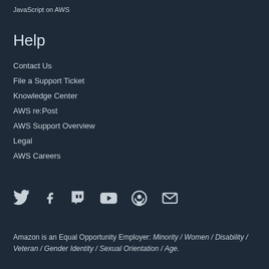JavaScript on AWS
Help
Contact Us
File a Support Ticket
Knowledge Center
AWS re:Post
AWS Support Overview
Legal
AWS Careers
[Figure (infographic): Social media icons: Twitter, Facebook, Twitch, YouTube, Podcast, Email]
Amazon is an Equal Opportunity Employer: Minority / Women / Disability / Veteran / Gender Identity / Sexual Orientation / Age.